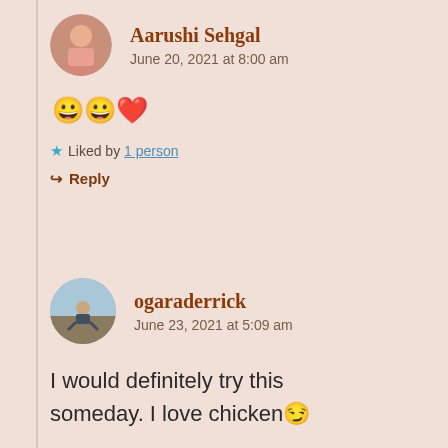[Figure (photo): Circular avatar photo of Aarushi Sehgal, a young woman]
Aarushi Sehgal
June 20, 2021 at 8:00 am
😀😀❤️
★ Liked by 1 person
↪ Reply
[Figure (photo): Circular avatar photo of ogaraderrick, a person sitting outdoors]
ogaraderrick
June 23, 2021 at 5:09 am
I would definitely try this someday. I love chicken😏